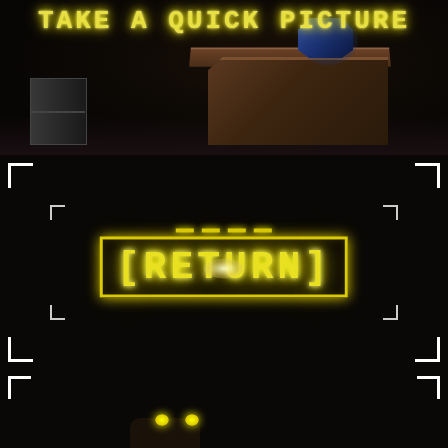[Figure (screenshot): Top panel: Dark room scene from a horror game with a wooden desk/furniture on the right, a blue glowing animatronic shape, a cabinet on the left, and the handwritten-style yellow text 'TAKE A QUICK PICTURE' at the top]
[Figure (screenshot): Middle panel: Camera viewfinder UI with white corner bracket markers (outer and inner), and glowing yellow text '[RETURN]' with square brackets in the center, with dashes above and a bright center glow]
[Figure (screenshot): Bottom panel: Dark camera viewfinder with corner brackets at top, and small yellow glowing eyes visible in the darkness]